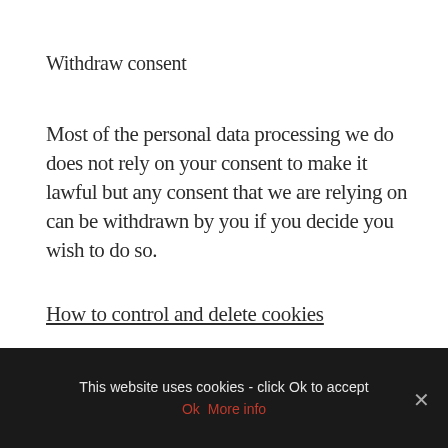Withdraw consent
Most of the personal data processing we do does not rely on your consent to make it lawful but any consent that we are relying on can be withdrawn by you if you decide you wish to do so.
How to control and delete cookies
We know that people have concerns about
This website uses cookies - click Ok to accept
Ok  More info